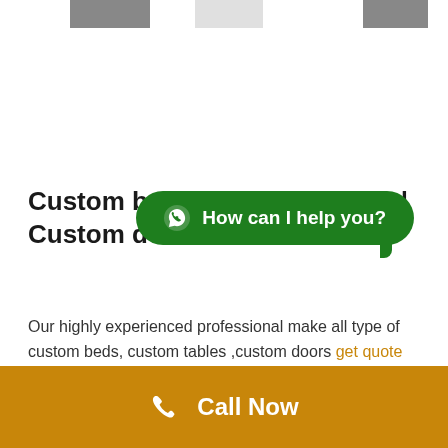[Figure (screenshot): Three partially visible thumbnail images at top edge of page]
Custom beds | Custom tables | Custom doors
Our highly experienced professional make all type of custom beds, custom tables ,custom doors get quote …
[Figure (other): Green WhatsApp chat button reading 'How can I help you?']
[Figure (other): Golden 'Call Now' bar at bottom with phone icon]